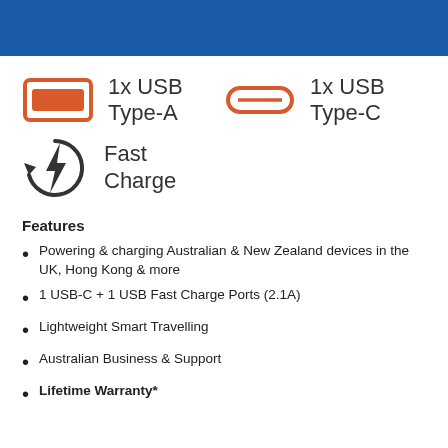[Figure (infographic): Blue banner header bar at top of page]
[Figure (infographic): USB Type-A icon (orange filled rectangle with orange border) and USB Type-C icon (orange rounded pill outline), with labels '1x USB Type-A' and '1x USB Type-C']
[Figure (infographic): Fast Charge icon: lightning bolt inside a circular arrow, with label 'Fast Charge']
Features
Powering & charging Australian & New Zealand devices in the UK, Hong Kong & more
1 USB-C + 1 USB Fast Charge Ports (2.1A)
Lightweight Smart Travelling
Australian Business & Support
Lifetime Warranty*